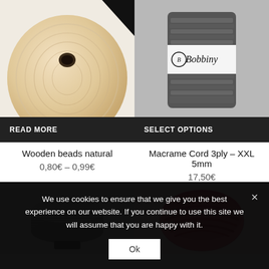[Figure (photo): Wooden bead natural color, round shape with hole, top portion visible]
[Figure (photo): Bobbiny brand macrame cord 3ply XXL 5mm, dark grey spool with label]
READ MORE
SELECT OPTIONS
Wooden beads natural
0,80€ – 0,99€
Macrame Cord 3ply – XXL 5mm
17,50€
[Figure (photo): Silver metallic thread spool]
[Figure (photo): Pink macrame cord bundle/skein]
We use cookies to ensure that we give you the best experience on our website. If you continue to use this site we will assume that you are happy with it.
Ok